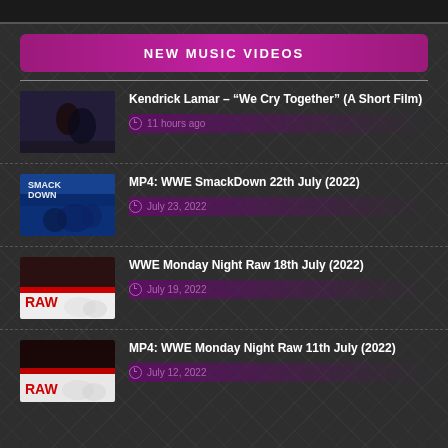NEW MUSIC VIDEOS
Kendrick Lamar – “We Cry Together” (A Short Film)
MP4: WWE SmackDown 22th July (2022)
WWE Monday Night Raw 18th July (2022)
MP4: WWE Monday Night Raw 11th July (2022)